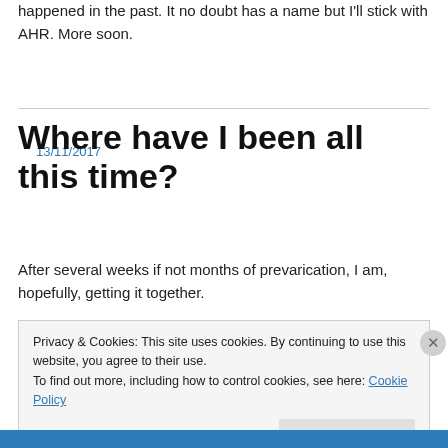happened in the past. It no doubt has a name but I'll stick with AHR. More soon.
13/11/2017
Where have I been all this time?
After several weeks if not months of prevarication, I am, hopefully, getting it together.
Privacy & Cookies: This site uses cookies. By continuing to use this website, you agree to their use.
To find out more, including how to control cookies, see here: Cookie Policy